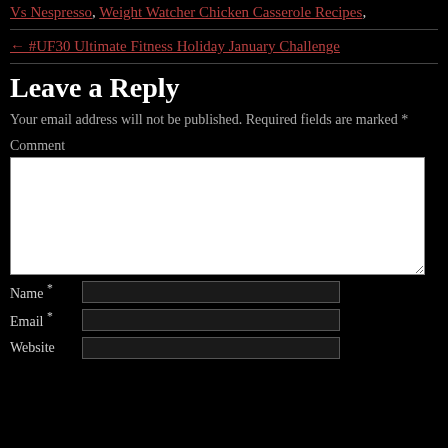Vs Nespresso, Weight Watcher Chicken Casserole Recipes,
← #UF30 Ultimate Fitness Holiday January Challenge
Leave a Reply
Your email address will not be published. Required fields are marked *
Comment
Name *
Email *
Website